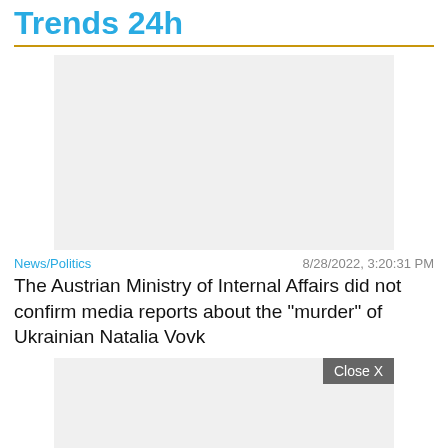Trends 24h
[Figure (other): Advertisement placeholder box, light gray background]
News/Politics	8/28/2022, 3:20:31 PM
The Austrian Ministry of Internal Affairs did not confirm media reports about the "murder" of Ukrainian Natalia Vovk
[Figure (other): Advertisement placeholder box, light gray background, with Close X button]